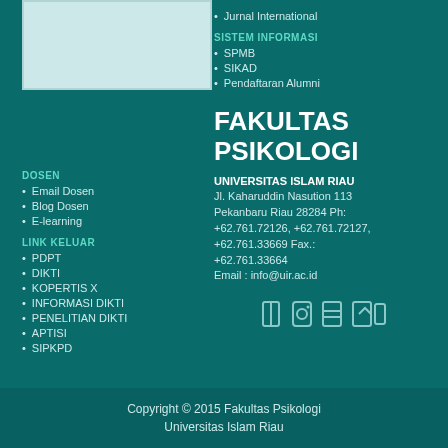[Figure (logo): University logo placeholder box]
Jurnal International
SISTEM INFORMASI
SPMB
SIKAD
Pendaftaran Alumni
DOSEN
Email Dosen
Blog Dosen
E-learning
LINK KELUAR
PDPT
DIKTI
KOPERTIS X
INFORMASI DIKTI
PENELITIAN DIKTI
APTISI
SIPKPD
FAKULTAS PSIKOLOGI
UNIVERSITAS ISLAM RIAU
Jl. Kaharuddin Nasution 113 Pekanbaru Riau 28284 Ph: +62.761.72126, +62.761.72127, +62.761.33669 Fax.: +62.761.33664 Email : info@uir.ac.id
[Figure (infographic): Social media icons row]
Copyright © 2015 Fakultas Psikologi Universitas Islam Riau